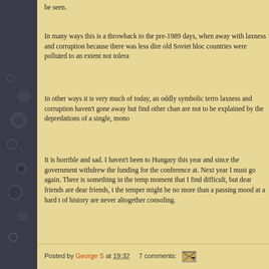be seen.
In many ways this is a throwback to the pre-1989 days, when away with laxness and corruption because there was less dire old Soviet bloc countries were polluted to an extent not tolera
In other ways it is very much of today, an oddly symbolic terro laxness and corruption haven't gone away but find other chan are not to be explained by the depredations of a single, mono
It is horrible and sad. I haven't been to Hungary this year and since the government withdrew the funding for the conference at. Next year I must go again. There is something in the temp moment that I find difficult, but dear friends are dear friends, t the temper might be no more than a passing mood at a hard t of history are never altogether consoling.
Posted by George S at 19:32    7 comments: